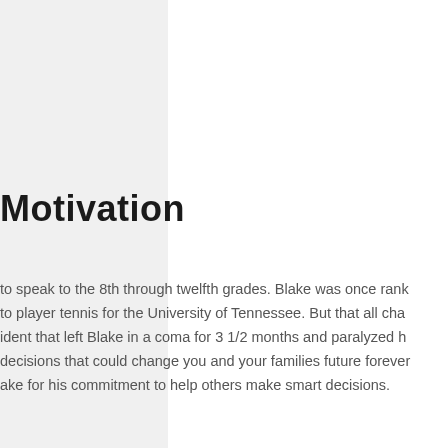Motivation
to speak to the 8th through twelfth grades. Blake was once rank to player tennis for the University of Tennessee. But that all cha ident that left Blake in a coma for 3 1/2 months and paralyzed h decisions that could change you and your families future forever ake for his commitment to help others make smart decisions.
DSC_31